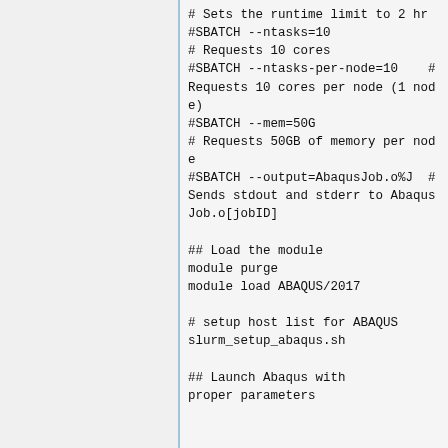# Sets the runtime limit to 2 hr
#SBATCH --ntasks=10
# Requests 10 cores
#SBATCH --ntasks-per-node=10    # Requests 10 cores per node (1 node)
#SBATCH --mem=50G
# Requests 50GB of memory per node
#SBATCH --output=AbaqusJob.o%J  # Sends stdout and stderr to AbaqusJob.o[jobID]

## Load the module
module purge
module load ABAQUS/2017

# setup host list for ABAQUS
slurm_setup_abaqus.sh

## Launch Abaqus with
proper parameters